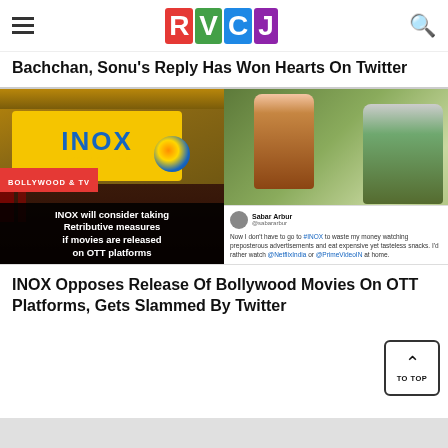RVCJ
Bachchan, Sonu's Reply Has Won Hearts On Twitter
[Figure (photo): Left: INOX cinema billboard with 'INOX LIVE THE MOVIE' yellow sign, with dark overlay text reading 'INOX will consider taking Retributive measures if movies are released on OTT platforms'. Red badge: 'BOLLYWOOD & TV'. Right: Two men (one young in brown jacket, one elderly in grey hoodie) walking outdoors, with a tweet overlay from 'Sabar Arbur' reading 'Now I don't have to go to #INOX to waste my money watching preposterous advertisements and eat expensive yet tasteless snacks. I'd rather watch @NetflixIndia or @PrimeVideoIN at home.']
INOX Opposes Release Of Bollywood Movies On OTT Platforms, Gets Slammed By Twitter